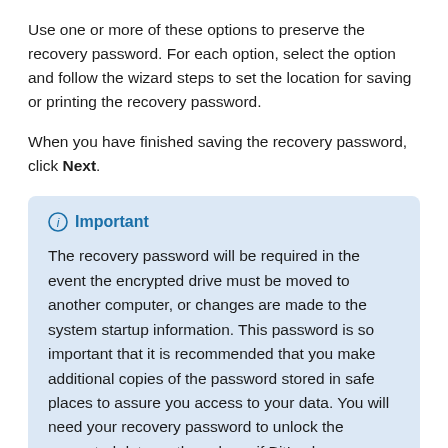Use one or more of these options to preserve the recovery password. For each option, select the option and follow the wizard steps to set the location for saving or printing the recovery password.
When you have finished saving the recovery password, click Next.
Important
The recovery password will be required in the event the encrypted drive must be moved to another computer, or changes are made to the system startup information. This password is so important that it is recommended that you make additional copies of the password stored in safe places to assure you access to your data. You will need your recovery password to unlock the encrypted data on the volume if BitLocker